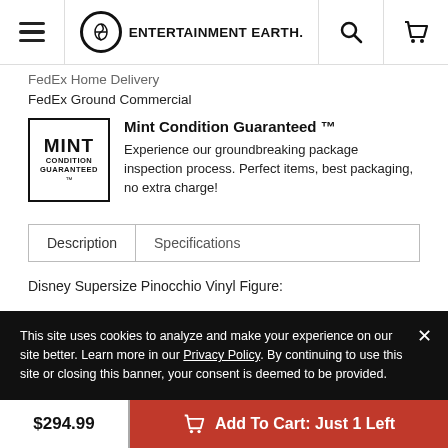[Figure (logo): Entertainment Earth website header with hamburger menu, logo, search and cart icons]
FedEx Home Delivery
FedEx Ground Commercial
[Figure (logo): Mint Condition Guaranteed logo — square badge with bold text]
Mint Condition Guaranteed ™
Experience our groundbreaking package inspection process. Perfect items, best packaging, no extra charge!
Description
Specifications
Disney Supersize Pinocchio Vinyl Figure:
This site uses cookies to analyze and make your experience on our site better. Learn more in our Privacy Policy. By continuing to use this site or closing this banner, your consent is deemed to be provided.
$294.99
Add To Cart: Just 1 Left